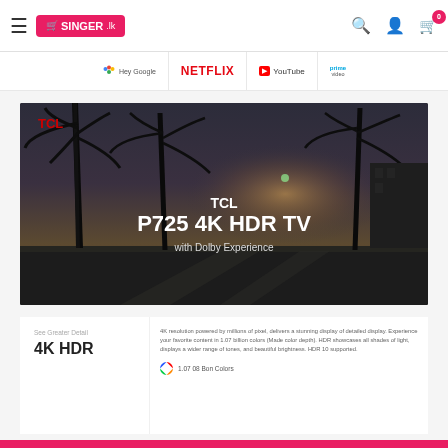[Figure (screenshot): Singer.lk e-commerce website header with hamburger menu, Singer logo in pink, search icon, user icon, and shopping cart with badge showing 0]
[Figure (screenshot): Navigation strip showing Hey Google, NETFLIX, YouTube, and Prime Video streaming service logos]
[Figure (photo): TCL P725 4K HDR TV promotional image with palm trees silhouetted against dusky sky, text overlay reading TCL P725 4K HDR TV with Dolby Experience]
See Greater Detail
4K HDR
4K resolution powered by millions of pixel, delivers a stunning display of detailed display. Experience your favorite content in 1.07 billion colors (Made color depth). HDR showcases all shades of light, displays a wider range of tones, and beautiful brightness. HDR 10 supported.
1.07 08 Bon Colors